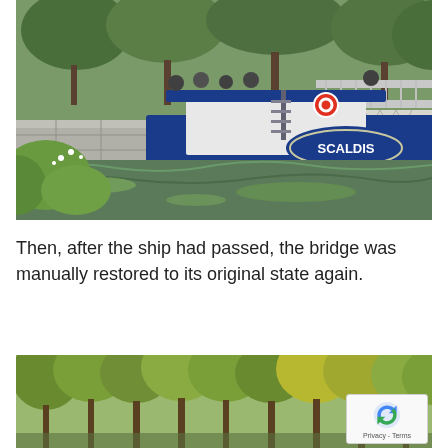[Figure (photo): A blue and white river barge named 'SCALDIS' passing through a canal lock or bridge opening. People are visible on top of the boat. A metal bridge railing is visible on the right side. Green vegetation and stone walls flank the waterway. The water shows green algae patches.]
Then, after the ship had passed, the bridge was manually restored to its original state again.
[Figure (photo): A row of tall green and yellow-green trees along a waterway, partially cropped at the bottom of the page. A reCAPTCHA privacy badge is overlaid in the bottom-right corner.]